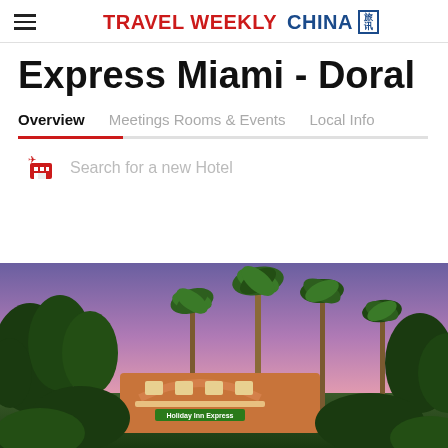TRAVEL WEEKLY CHINA 旅讯
Express Miami - Doral
Overview   Meetings Rooms & Events   Local Info
Search for a new Hotel
[Figure (photo): Exterior photo of Holiday Inn Express Miami - Doral hotel at dusk, showing palm trees, purple-pink sky, and the hotel entrance with a bridge/archway structure]